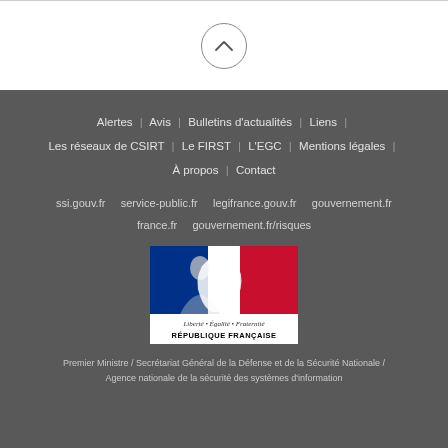[Figure (other): Circular arrow button icon pointing up]
Alertes | Avis | Bulletins d'actualités | Liens | Les réseaux de CSIRT | Le FIRST | L'EGC | Mentions légales | À propos | Contact
ssi.gouv.fr   service-public.fr   legifrance.gouv.fr   gouvernement.fr   france.fr   gouvernement.fr/risques
[Figure (logo): République Française logo with Marianne figure, blue white red colors, Liberté Égalité Fraternité subtitle]
Premier Ministre / Secrétariat Général de la Défense et de la Sécurité Nationale / Agence nationale de la sécurité des systèmes d'information